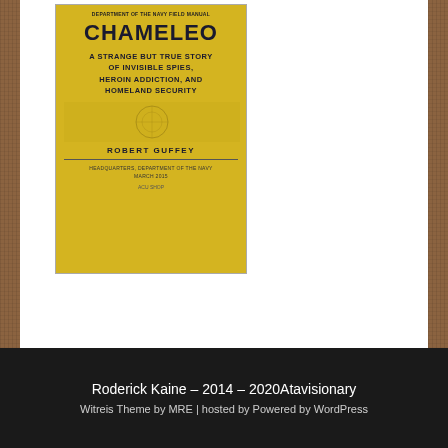[Figure (illustration): Book cover of 'Chameleo: A Strange But True Story of Invisible Spies, Heroin Addiction, and Homeland Security' by Robert Guffey. Yellow cover with title in large black text, subtitle below, and author name near bottom. Bottom strip with text: Headquarters, Department of the Navy, March 2015.]
Sitemap
Roderick Kaine – 2014 – 2020Atavisionary